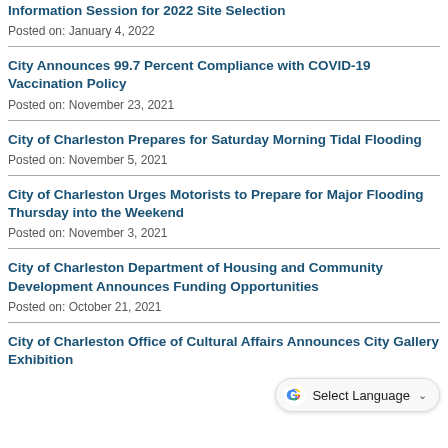Information Session for 2022 Site Selection
Posted on: January 4, 2022
City Announces 99.7 Percent Compliance with COVID-19 Vaccination Policy
Posted on: November 23, 2021
City of Charleston Prepares for Saturday Morning Tidal Flooding
Posted on: November 5, 2021
City of Charleston Urges Motorists to Prepare for Major Flooding Thursday into the Weekend
Posted on: November 3, 2021
City of Charleston Department of Housing and Community Development Announces Funding Opportunities
Posted on: October 21, 2021
City of Charleston Office of Cultural Affairs Announces City Gallery Exhibition